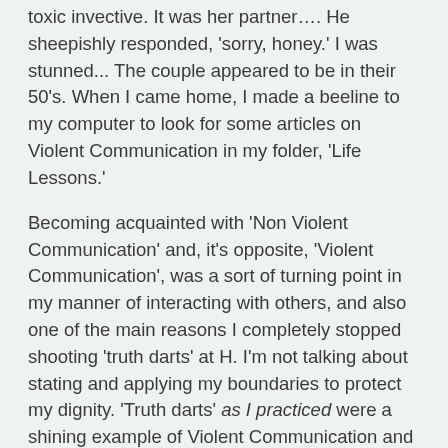toxic invective.  It was her partner….  He sheepishly responded, 'sorry, honey.'  I was stunned... The couple appeared to be in their 50's.  When I came home, I made a beeline to my computer to look for some articles on Violent Communication in my folder, 'Life Lessons.'
Becoming acquainted with 'Non Violent Communication' and, it's opposite, 'Violent Communication', was a sort of turning point in my manner of interacting with others, and also one of the main reasons I completely stopped shooting 'truth darts' at H.  I'm not talking about stating and applying my boundaries to protect my dignity.  'Truth darts' as I practiced were a shining example of Violent Communication and they further eroded the precious little bit of relationship that was still in existence between H and me.  Refraining from Violent Communication and changing over to Non Violent Communication has had a positive impact on my relationship with my H, especially as we were starting to reconnect.   I can see how that change was no brainer.  When you choose to